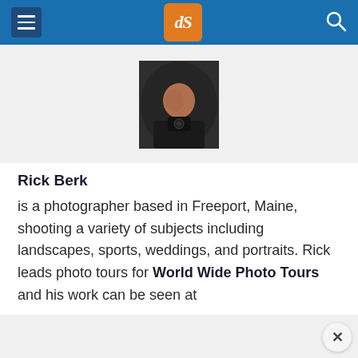dPS navigation header with hamburger menu, dPS logo, and search icon
[Figure (photo): Portrait photo of Rick Berk, a photographer, shown against a dark background holding a camera]
Rick Berk is a photographer based in Freeport, Maine, shooting a variety of subjects including landscapes, sports, weddings, and portraits. Rick leads photo tours for World Wide Photo Tours and his work can be seen at